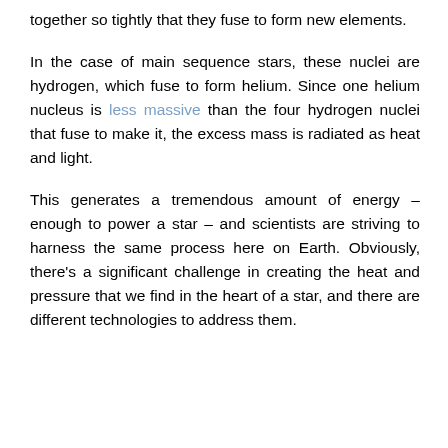together so tightly that they fuse to form new elements.
In the case of main sequence stars, these nuclei are hydrogen, which fuse to form helium. Since one helium nucleus is less massive than the four hydrogen nuclei that fuse to make it, the excess mass is radiated as heat and light.
This generates a tremendous amount of energy – enough to power a star – and scientists are striving to harness the same process here on Earth. Obviously, there's a significant challenge in creating the heat and pressure that we find in the heart of a star, and there are different technologies to address them.